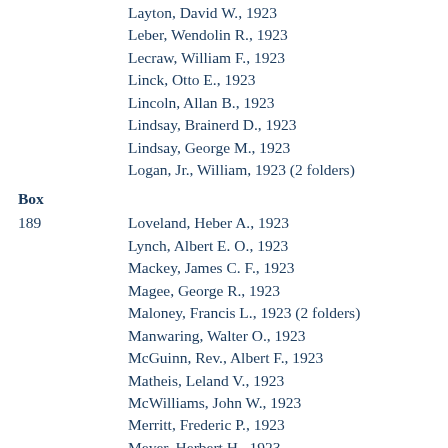Layton, David W., 1923
Leber, Wendolin R., 1923
Lecraw, William F., 1923
Linck, Otto E., 1923
Lincoln, Allan B., 1923
Lindsay, Brainerd D., 1923
Lindsay, George M., 1923
Logan, Jr., William, 1923 (2 folders)
Box
189    Loveland, Heber A., 1923
Lynch, Albert E. O., 1923
Mackey, James C. F., 1923
Magee, George R., 1923
Maloney, Francis L., 1923 (2 folders)
Manwaring, Walter O., 1923
McGuinn, Rev., Albert F., 1923
Matheis, Leland V., 1923
McWilliams, John W., 1923
Merritt, Frederic P., 1923
Meyer, Herbert H., 1923